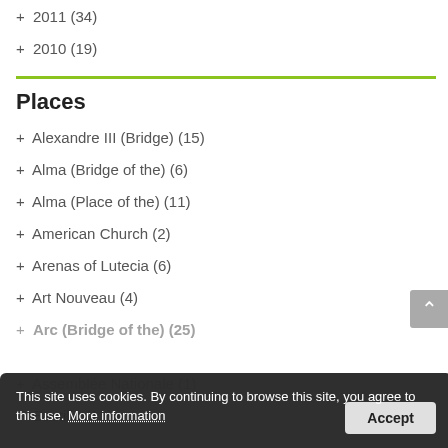+ 2011 (34)
+ 2010 (19)
Places
+ Alexandre III (Bridge) (15)
+ Alma (Bridge of the) (6)
+ Alma (Place of the) (11)
+ American Church (2)
+ Arenas of Lutecia (6)
+ Art Nouveau (4)
+ Arc (Bridge of the) (25)
+ Assemblée Nationale (1)
+ Bastille (11)
This site uses cookies. By continuing to browse this site, you agree to this use. More information  Accept